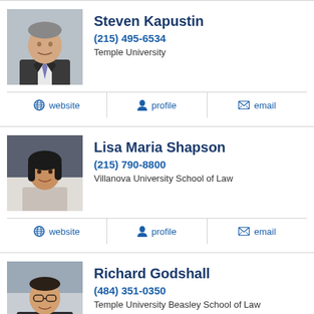[Figure (photo): Headshot of Steven Kapustin, older man in suit]
Steven Kapustin
(215) 495-6534
Temple University
website  profile  email
[Figure (photo): Headshot of Lisa Maria Shapson, woman with dark hair]
Lisa Maria Shapson
(215) 790-8800
Villanova University School of Law
website  profile  email
[Figure (photo): Headshot of Richard Godshall, man with glasses in suit]
Richard Godshall
(484) 351-0350
Temple University Beasley School of Law